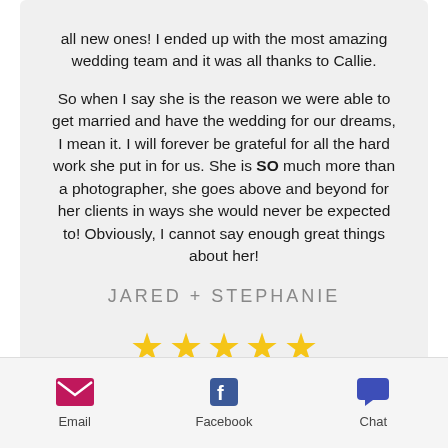all new ones! I ended up with the most amazing wedding team and it was all thanks to Callie.

So when I say she is the reason we were able to get married and have the wedding for our dreams, I mean it. I will forever be grateful for all the hard work she put in for us. She is SO much more than a photographer, she goes above and beyond for her clients in ways she would never be expected to! Obviously, I cannot say enough great things about her!
JARED + STEPHANIE
[Figure (other): Five gold star rating icons]
[Figure (infographic): Bottom navigation bar with Email (envelope icon), Facebook (Facebook icon), and Chat (speech bubble icon) buttons]